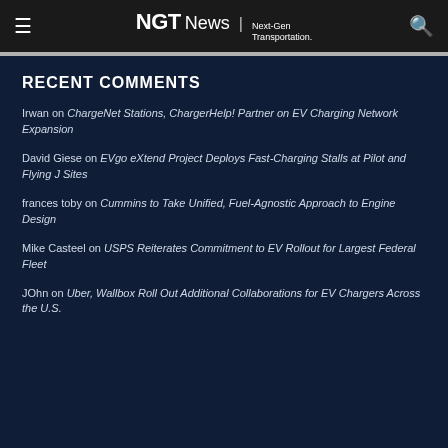NGTNews | Next-Gen Transportation.
RECENT COMMENTS
Irwan on ChargeNet Stations, ChargerHelp! Partner on EV Charging Network Expansion
David Giese on EVgo eXtend Project Deploys Fast-Charging Stalls at Pilot and Flying J Sites
frances toby on Cummins to Take Unified, Fuel-Agnostic Approach to Engine Design
Mike Casteel on USPS Reiterates Commitment to EV Rollout for Largest Federal Fleet
JOhn on Uber, Wallbox Roll Out Additional Collaborations for EV Chargers Across the U.S.